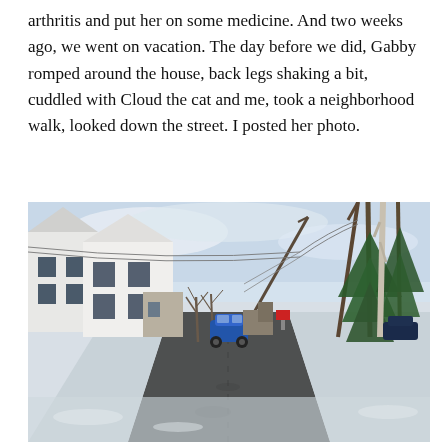arthritis and put her on some medicine. And two weeks ago, we went on vacation. The day before we did, Gabby romped around the house, back legs shaking a bit, cuddled with Cloud the cat and me, took a neighborhood walk, looked down the street. I posted her photo.
[Figure (photo): A winter street scene showing a snow-covered residential neighborhood road. A blue car is driving away down the center of the street. White multi-story houses line the left side, bare trees and evergreen trees are visible on the right. Power lines cross overhead. The sky is overcast.]